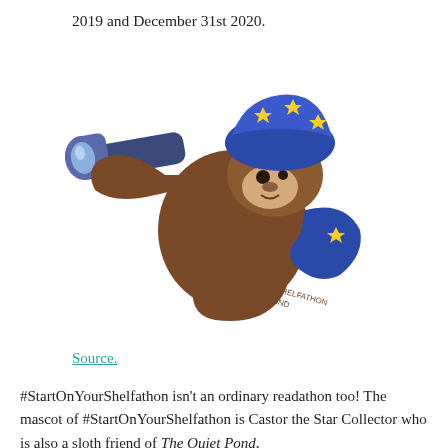2019 and December 31st 2020.
[Figure (illustration): A cartoon sloth mascot named Castor the Star Collector, wearing a blue hat with yellow stars and a blue cape/scarf with yellow stars, holding a large telescope up to look through it. The sloth's body has text reading '#STARTONYOURSHELFATHON THE QUIET POND'.]
Source.
#StartOnYourShelfathon isn't an ordinary readathon too! The mascot of #StartOnYourShelfathon is Castor the Star Collector who is also a sloth friend of The Quiet Pond,